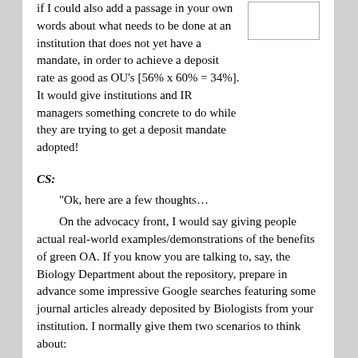if I could also add a passage in your own words about what needs to be done at an institution that does not yet have a mandate, in order to achieve a deposit rate as good as OU's [56% x 60% = 34%]. It would give institutions and IR managers something concrete to do while they are trying to get a deposit mandate adopted!
CS:
“Ok, here are a few thoughts…
On the advocacy front, I would say giving people actual real-world examples/demonstrations of the benefits of green OA. If you know you are talking to, say, the Biology Department about the repository, prepare in advance some impressive Google searches featuring some journal articles already deposited by Biologists from your institution. I normally give them two scenarios to think about:
“(1) Imagine an academic who knows the title of the paper she wants to read… she’s tried her Library and found her institution doesn’t subscribe to the journal… so she plugs it into Google… hey presto, there it is, in the top 10 hits, in our repository… and it’s there because of both the following